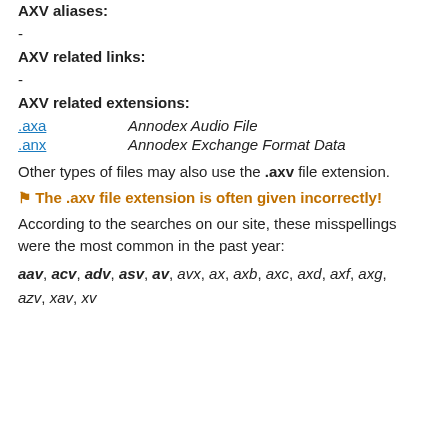AXV aliases:
-
AXV related links:
-
AXV related extensions:
.axa   Annodex Audio File
.anx   Annodex Exchange Format Data
Other types of files may also use the .axv file extension.
⚑ The .axv file extension is often given incorrectly!
According to the searches on our site, these misspellings were the most common in the past year:
aav, acv, adv, asv, av, avx, ax, axb, axc, axd, axf, axg, azv, xav, xv